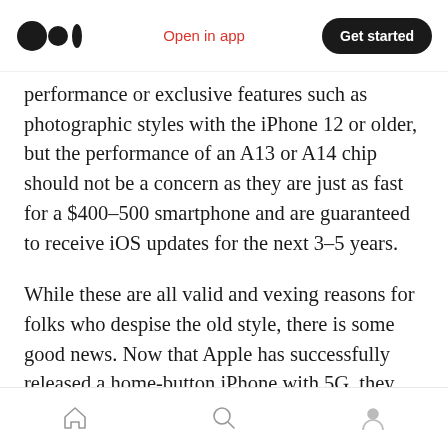[Figure (logo): Medium logo — two black circles and a vertical bar]
Open in app
Get started
performance or exclusive features such as photographic styles with the iPhone 12 or older, but the performance of an A13 or A14 chip should not be a concern as they are just as fast for a $400–500 smartphone and are guaranteed to receive iOS updates for the next 3–5 years.
While these are all valid and vexing reasons for folks who despise the old style, there is some good news. Now that Apple has successfully released a home-button iPhone with 5G, they may have gotten over their obsession with this design, putting all of their users with old home-
[Figure (infographic): Bottom navigation bar with home, search, and profile icons]